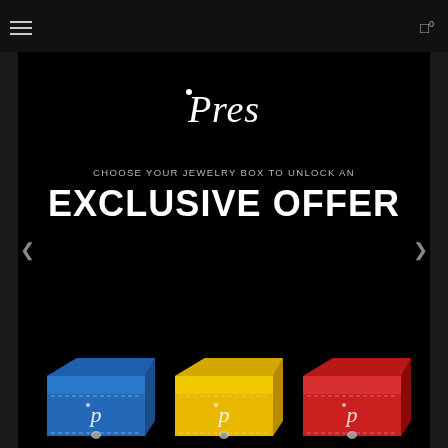[Figure (logo): Pres brand logo in white cursive script on black background]
CHOOSE YOUR JEWELRY BOX TO UNLOCK AN
EXCLUSIVE OFFER
[Figure (illustration): Three jewelry boxes in blue, yellow, and red, each with the Pres logo on the front face, displayed on a black background]